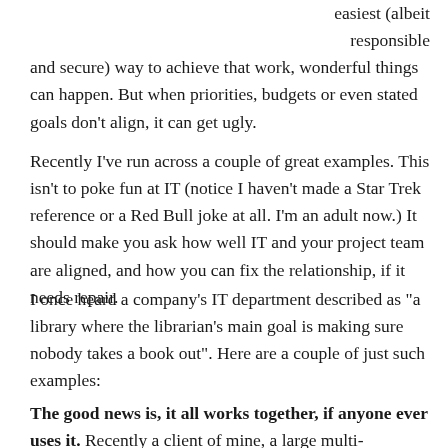easiest (albeit responsible and secure) way to achieve that work, wonderful things can happen. But when priorities, budgets or even stated goals don't align, it can get ugly.
Recently I've run across a couple of great examples. This isn't to poke fun at IT (notice I haven't made a Star Trek reference or a Red Bull joke at all. I'm an adult now.) It should make you ask how well IT and your project team are aligned, and how you can fix the relationship, if it needs repair.
I once heard a company's IT department described as "a library where the librarian's main goal is making sure nobody takes a book out". Here are a couple of just such examples:
The good news is, it all works together, if anyone ever uses it. Recently a client of mine, a large multi-